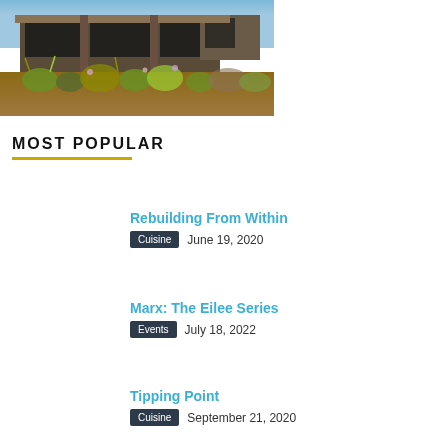[Figure (photo): Exterior photo of a modern desert home with lush landscaping, stone walls, large glass windows, and desert plants including ornamental grasses and flowers.]
MOST POPULAR
Rebuilding From Within
Cuisine  June 19, 2020
Marx: The Eilee Series
Events  July 18, 2022
Tipping Point
Cuisine  September 21, 2020